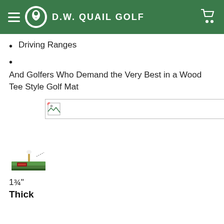D.W. QUAIL GOLF
Driving Ranges
And Golfers Who Demand the Very Best in a Wood Tee Style Golf Mat
[Figure (photo): Broken image placeholder for a golf mat product image]
[Figure (photo): Small thumbnail of a wood tee style golf mat showing it at an angle with a tee inserted]
1¾"
Thick